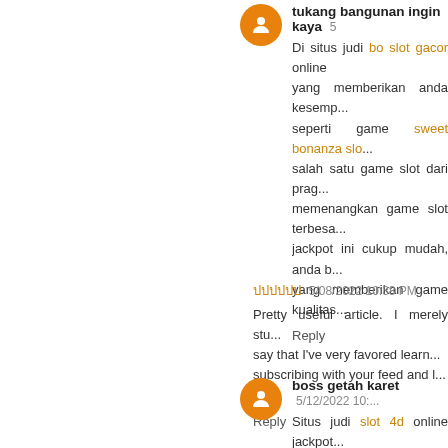tukang bangunan ingin kaya [date truncated]
Di situs judi bo slot gacor online yang memberikan anda kesempatan seperti game sweet bonanza slo... salah satu game slot dari prag... memenangkan game slot terbesa... jackpot ini cukup mudah, anda b... yang memberikan game kualitas...
Reply
ปปปปปป 5/08/2022 10:38 PM
Pretty useful article. I merely stu... say that I've very favored learn... subscribing with your feed and l... ป
Reply
boss getah karet 5/12/2022 10:...
Situs judi slot 4d online jackpot... web slot88 online dan dalam p... permainan terbaik dan tampilan ... kualitas tampilan game slot ovo...